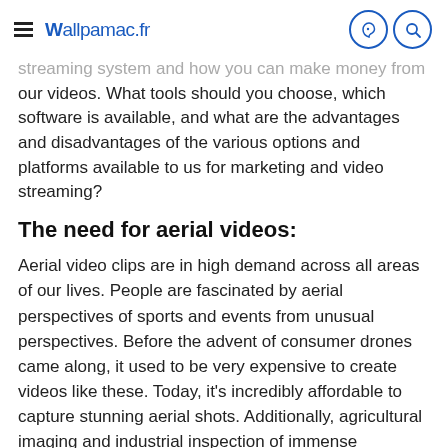Wallpamac.fr
streaming system and how you can make money from our videos. What tools should you choose, which software is available, and what are the advantages and disadvantages of the various options and platforms available to us for marketing and video streaming?
The need for aerial videos:
Aerial video clips are in high demand across all areas of our lives. People are fascinated by aerial perspectives of sports and events from unusual perspectives. Before the advent of consumer drones came along, it used to be very expensive to create videos like these. Today, it's incredibly affordable to capture stunning aerial shots. Additionally, agricultural imaging and industrial inspection of immense structures are other places that aerial video is being utilized.